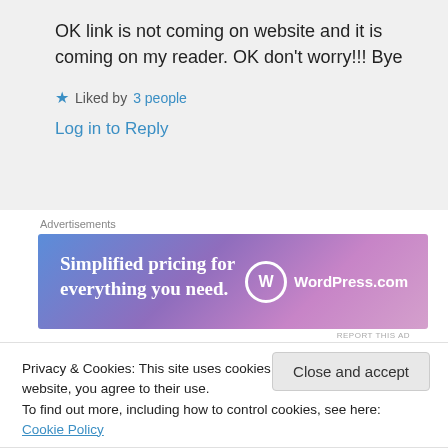OK link is not coming on website and it is coming on my reader. OK don't worry!!! Bye
Liked by 3 people
Log in to Reply
Advertisements
[Figure (other): WordPress.com advertisement banner: 'Simplified pricing for everything you need.' with WordPress.com logo]
REPORT THIS AD
Privacy & Cookies: This site uses cookies. By continuing to use this website, you agree to their use.
To find out more, including how to control cookies, see here: Cookie Policy
Close and accept
Blog Award. See here.